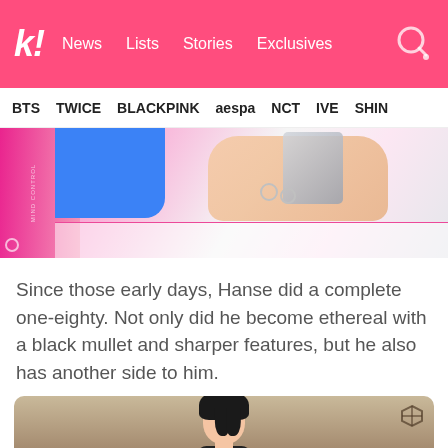k! News Lists Stories Exclusives
BTS TWICE BLACKPINK aespa NCT IVE SHIN...
[Figure (photo): Close-up photo showing hands holding a microphone or metallic object, with pink and blue clothing visible]
Since those early days, Hanse did a complete one-eighty. Not only did he become ethereal with a black mullet and sharper features, but he also has another side to him.
[Figure (photo): Portrait photo of a young man with black hair against a beige/tan background, with a logo in the top right corner]